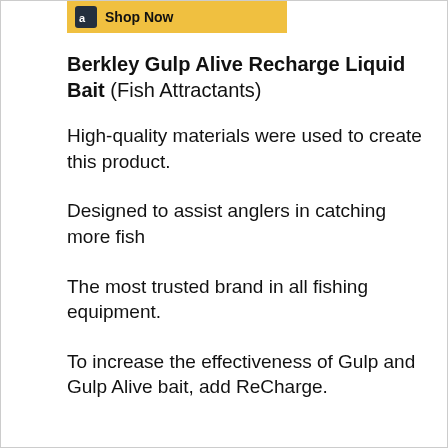[Figure (logo): Amazon shop now button banner with yellow background and Amazon icon]
Berkley Gulp Alive Recharge Liquid Bait (Fish Attractants)
High-quality materials were used to create this product.
Designed to assist anglers in catching more fish
The most trusted brand in all fishing equipment.
To increase the effectiveness of Gulp and Gulp Alive bait, add ReCharge.